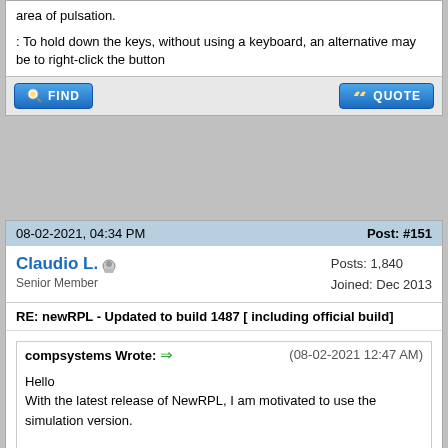area of pulsation.
: To hold down the keys, without using a keyboard, an alternative may be to right-click the button
08-02-2021, 04:34 PM
Post: #151
Claudio L.
Senior Member
Posts: 1,840
Joined: Dec 2013
RE: newRPL - Updated to build 1487 [ including official build]
compsystems Wrote: (08-02-2021 12:47 AM)
Hello
With the latest release of NewRPL, I am motivated to use the simulation version.

In the PC version, the following key combinations are not working
Quote:
While the Vars menu allows the user to enter into sub-directories, it does not provide any means to exit back into the